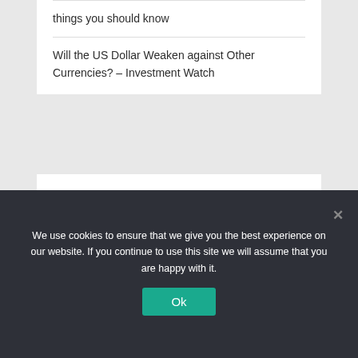things you should know
Will the US Dollar Weaken against Other Currencies? – Investment Watch
Recent Comments
No comments to show.
About us
We use cookies to ensure that we give you the best experience on our website. If you continue to use this site we will assume that you are happy with it.